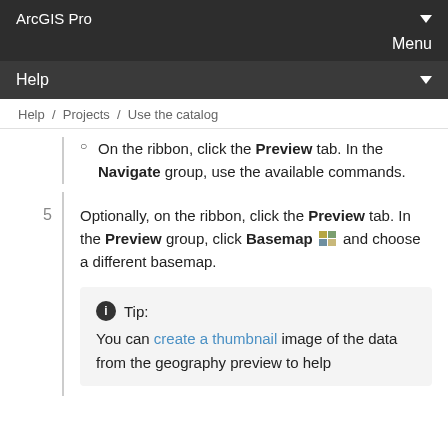ArcGIS Pro
Menu
Help
Help / Projects / Use the catalog
On the ribbon, click the Preview tab. In the Navigate group, use the available commands.
Optionally, on the ribbon, click the Preview tab. In the Preview group, click Basemap and choose a different basemap.
Tip: You can create a thumbnail image of the data from the geography preview to help